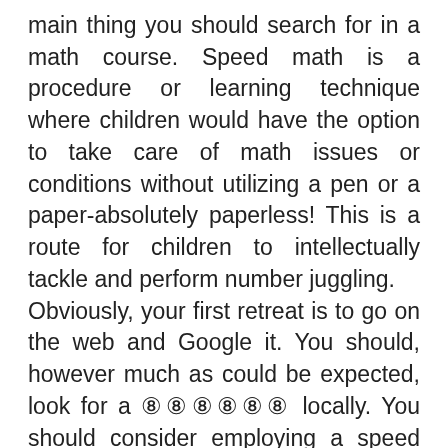main thing you should search for in a math course. Speed math is a procedure or learning technique where children would have the option to take care of math issues or conditions without utilizing a pen or a paper-absolutely paperless! This is a route for children to intellectually tackle and perform number juggling.
Obviously, your first retreat is to go on the web and Google it. You should, however much as could be expected, look for a ⑧⑧⑧⑧⑧⑧ locally. You should consider employing a speed math coach to show your children to ensure better and quicker outcomes. Next, you ought to ask your associates or your child’s educators on the off chance that they are aware of wherever or individual who offers a math course for kids. Since you know the